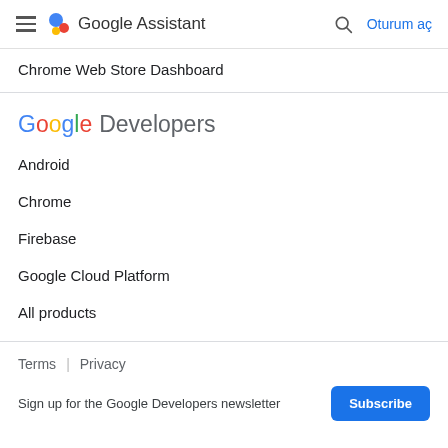Google Assistant | Oturum aç
Chrome Web Store Dashboard
[Figure (logo): Google Developers logo with Google colored 'Google' text and grey 'Developers' text]
Android
Chrome
Firebase
Google Cloud Platform
All products
Terms | Privacy
Sign up for the Google Developers newsletter